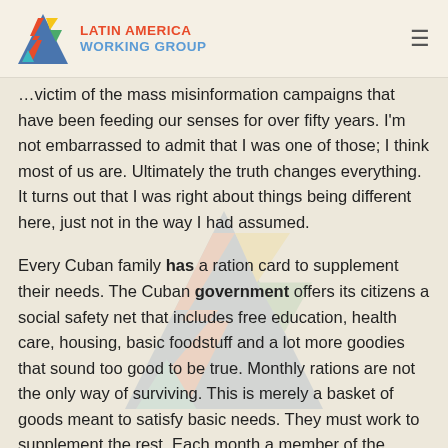LATIN AMERICA WORKING GROUP
...victim of the mass misinformation campaigns that have been feeding our senses for over fifty years. I'm not embarrassed to admit that I was one of those; I think most of us are. Ultimately the truth changes everything. It turns out that I was right about things being different here, just not in the way I had assumed.
Every Cuban family has a ration card to supplement their needs. The Cuban government offers its citizens a social safety net that includes free education, health care, housing, basic foodstuff and a lot more goodies that sound too good to be true. Monthly rations are not the only way of surviving. This is merely a basket of goods meant to satisfy basic needs. They must work to supplement the rest. Each month a member of the family heads to a local [bodega to pick up their monthly rations of rice...]